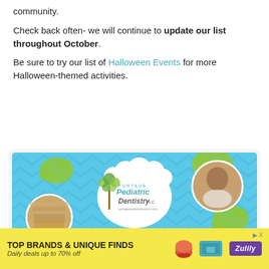community.
Check back often- we will continue to update our list throughout October.
Be sure to try our list of Halloween Events for more Halloween-themed activities.
[Figure (illustration): Portage Pediatric Dentistry advertisement banner with blue chevron background, green splat decorations, a cloud-shaped logo bubble in the center, a circular photo of a dental office playroom on the left, and a circular photo of a smiling doctor on the right.]
[Figure (infographic): Zulily advertisement banner with yellow background: 'TOP BRANDS & UNIQUE FINDS' in bold, 'Daily deals up to 70% off' in italic, showing images of shoes and a teal handbag, with purple Zulily logo on the right.]